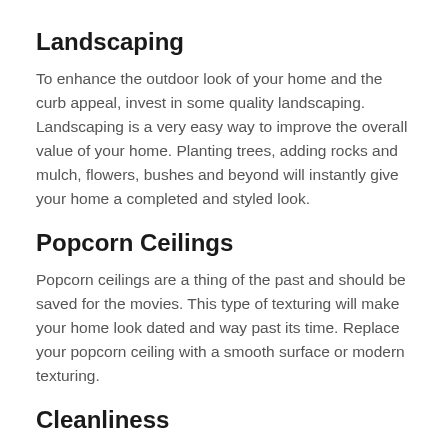Landscaping
To enhance the outdoor look of your home and the curb appeal, invest in some quality landscaping. Landscaping is a very easy way to improve the overall value of your home. Planting trees, adding rocks and mulch, flowers, bushes and beyond will instantly give your home a completed and styled look.
Popcorn Ceilings
Popcorn ceilings are a thing of the past and should be saved for the movies. This type of texturing will make your home look dated and way past its time. Replace your popcorn ceiling with a smooth surface or modern texturing.
Cleanliness